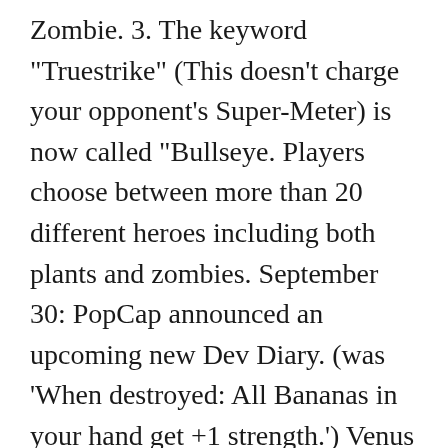Zombie. 3. The keyword "Truestrike" (This doesn't charge your opponent's Super-Meter) is now called "Bullseye. Players choose between more than 20 different heroes including both plants and zombies. September 30: PopCap announced an upcoming new Dev Diary. (was 'When destroyed: All Bananas in your hand get +1 strength.') Venus Flytraplanet's Recycle value is raised to. – Private matches enhanced, removed many bugs. April 30: Far Future Zomboss level was released. Disco-Naut is now less healthy: 1-cost 2/1. Briar Rose has blossomed into one of the most feared Plants in the game, ever since her cost dropped from 6 to 4. Download Plants vs. Zombies Heroes on